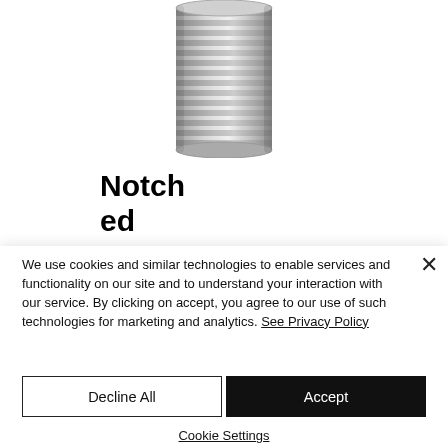[Figure (photo): A cylindrical metal threaded stem component with ridged/notched surface, viewed from above at a slight angle, shown in silver/gray metallic finish.]
Notched NOS Threaded Stem
We use cookies and similar technologies to enable services and functionality on our site and to understand your interaction with our service. By clicking on accept, you agree to our use of such technologies for marketing and analytics. See Privacy Policy
Decline All
Accept
Cookie Settings